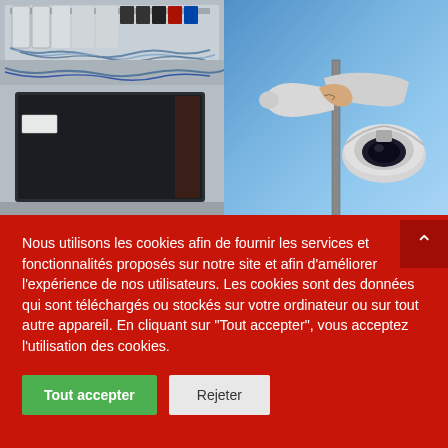[Figure (photo): Two side-by-side photos: left shows an open electrical panel/cabinet with circuit breakers, wiring, and a black display unit; right shows a person installing security cameras (dome camera and horn speaker) on a pole against a blue sky.]
Nous utilisons les cookies afin de fournir les services et fonctionnalités proposés sur notre site et afin d'améliorer l'expérience de nos utilisateurs. Les cookies sont des données qui sont téléchargés ou stockés sur votre ordinateur ou sur tout autre appareil. En cliquant sur "Tout accepter", vous acceptez l'utilisation des cookies.
Tout accepter
Rejeter